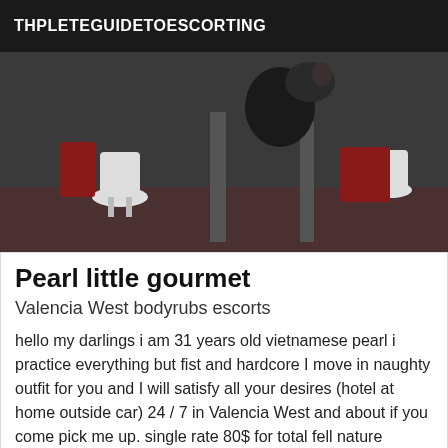THPLETEGUIDETOESCORTING
[Figure (photo): Interior lounge/bar scene with white chairs and red carpet, person in dark jacket in foreground]
Pearl little gourmet
Valencia West bodyrubs escorts
hello my darlings i am 31 years old vietnamese pearl i practice everything but fist and hardcore I move in naughty outfit for you and I will satisfy all your desires (hotel at home outside car) 24 / 7 in Valencia West and about if you come pick me up. single rate 80$ for total fell nature vaginal and anal penetration
[Figure (screenshot): Dark red banner with 'Online' badge and mirrored URL text http:\\www.auntassex.escortbook.com with mirrored RR logo]